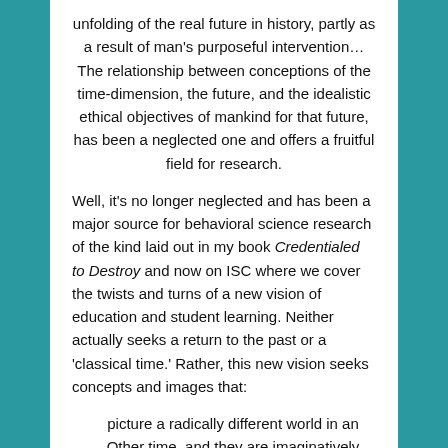unfolding of the real future in history, partly as a result of man's purposeful intervention…The relationship between conceptions of the time-dimension, the future, and the idealistic ethical objectives of mankind for that future, has been a neglected one and offers a fruitful field for research.
Well, it's no longer neglected and has been a major source for behavioral science research of the kind laid out in my book Credentialed to Destroy and now on ISC where we cover the twists and turns of a new vision of education and student learning. Neither actually seeks a return to the past or a 'classical time.' Rather, this new vision seeks concepts and images that:
picture a radically different world in an Other time, and they are imaginatively shaped in a way that they can be applied on behalf of mankind…The more general theory of images may be thought of as 'eidetics'. This concept, derived from the Greek eidelon, 'image,' has a long history…[Not] enough emphasis [has been put] on the